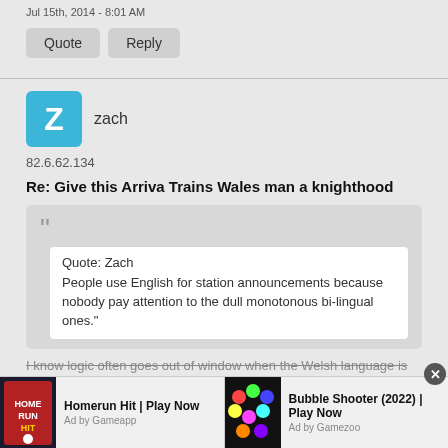Jul 15th, 2014 - 8:01 AM
Quote | Reply
zach
82.6.62.134
Re: Give this Arriva Trains Wales man a knighthood
Quote: Zach
People use English for station announcements because nobody pay attention to the dull monotonous bi-lingual ones."
I know logic often goes out of window when the Welsh language is
[Figure (screenshot): Two advertisement banners at the bottom: Homerun Hit | Play Now (Ad by Gameapp) and Bubble Shooter (2022) | Play Now (Ad by Gamezoo)]